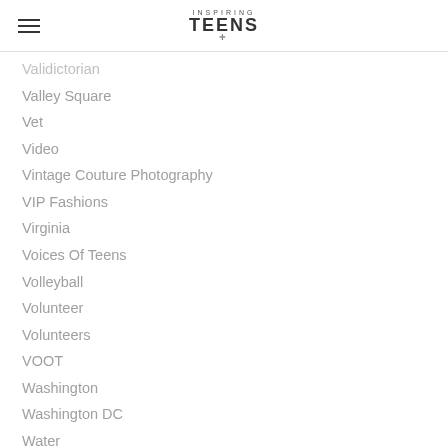Inspiring Teens
Validictorian
Valley Square
Vet
Video
Vintage Couture Photography
VIP Fashions
Virginia
Voices Of Teens
Volleyball
Volunteer
Volunteers
VOOT
Washington
Washington DC
Water
West Chester University
West Virginia
Wild Plum Photo